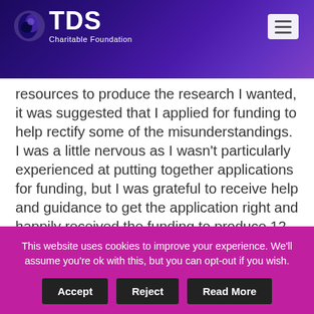TDS Charitable Foundation
resources to produce the research I wanted, it was suggested that I applied for funding to help rectify some of the misunderstandings. I was a little nervous as I wasn't particularly experienced at putting together applications for funding, but I was grateful to receive help and guidance to get the application right and happily received the funding to produce 12 reports which can be found here.
The first report showed that landlords weren't typically 'greedy' nor 'evil', many owned just one
This website uses cookies to improve your experience. We'll assume you're ok with this, but you can opt-out if you wish.